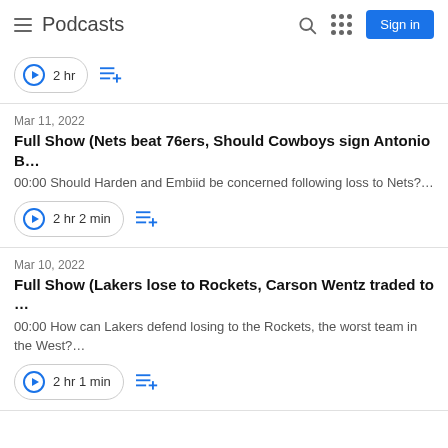Podcasts
2 hr
Mar 11, 2022
Full Show (Nets beat 76ers, Should Cowboys sign Antonio B…
00:00 Should Harden and Embiid be concerned following loss to Nets?…
2 hr 2 min
Mar 10, 2022
Full Show (Lakers lose to Rockets, Carson Wentz traded to …
00:00 How can Lakers defend losing to the Rockets, the worst team in the West?…
2 hr 1 min